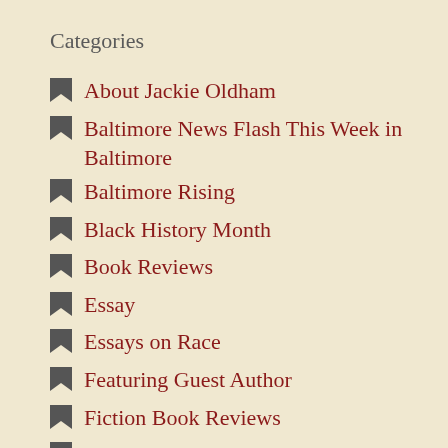Categories
About Jackie Oldham
Baltimore News Flash This Week in Baltimore
Baltimore Rising
Black History Month
Book Reviews
Essay
Essays on Race
Featuring Guest Author
Fiction Book Reviews
Health and Well-Being
I Am a Stranger in a Strange Land Called America
Magic Fingers Music
Media Matters
My Coronavirus Diaries
My Coronavirus Diaries